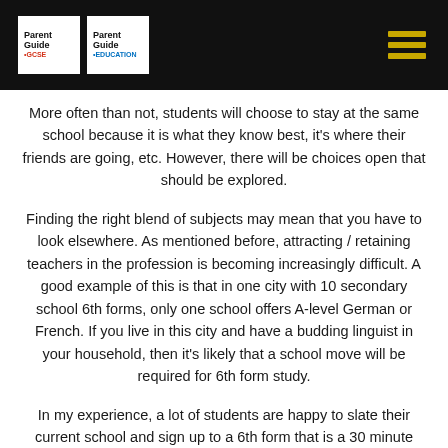Parent Guide to GCSE | Parent Guide to Education
More often than not, students will choose to stay at the same school because it is what they know best, it's where their friends are going, etc. However, there will be choices open that should be explored.
Finding the right blend of subjects may mean that you have to look elsewhere. As mentioned before, attracting / retaining teachers in the profession is becoming increasingly difficult. A good example of this is that in one city with 10 secondary school 6th forms, only one school offers A-level German or French. If you live in this city and have a budding linguist in your household, then it's likely that a school move will be required for 6th form study.
In my experience, a lot of students are happy to slate their current school and sign up to a 6th form that is a 30 minute expensive bus ride away. They usually come back a week or two later with their tails between their legs. Sometimes, the grass is not always greener. Get them to think really hard about the prospect of getting up early to